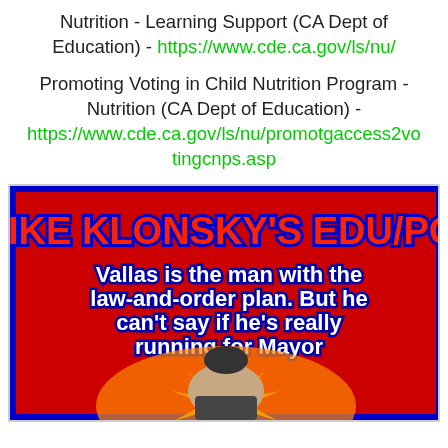Nutrition - Learning Support (CA Dept of Education) - https://www.cde.ca.gov/ls/nu/
Promoting Voting in Child Nutrition Program - Nutrition (CA Dept of Education) - https://www.cde.ca.gov/ls/nu/promotgaccess2votingcnps.asp
[Figure (illustration): Blog banner image for Mike Klonsky's EDU/POL blog. Red background with bold text reading 'MIKE KLONSKY'S EDU/POL' in red with blue outline, followed by subtitle text 'Vallas is the man with the law-and-order plan. But he can't say if he's really running for Mayor' in white with blue outline. Below is a partial photo of a person.]